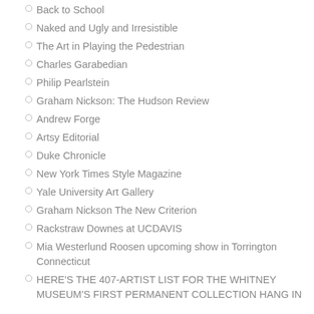Back to School
Naked and Ugly and Irresistible
The Art in Playing the Pedestrian
Charles Garabedian
Philip Pearlstein
Graham Nickson: The Hudson Review
Andrew Forge
Artsy Editorial
Duke Chronicle
New York Times Style Magazine
Yale University Art Gallery
Graham Nickson The New Criterion
Rackstraw Downes at UCDAVIS
Mia Westerlund Roosen upcoming show in Torrington Connecticut
HERE’S THE 407-ARTIST LIST FOR THE WHITNEY MUSEUM’S FIRST PERMANENT COLLECTION HANG IN